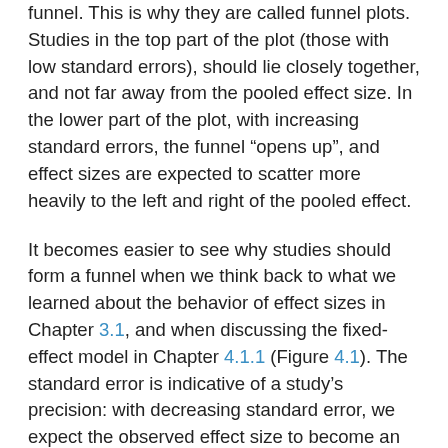funnel. This is why they are called funnel plots. Studies in the top part of the plot (those with low standard errors), should lie closely together, and not far away from the pooled effect size. In the lower part of the plot, with increasing standard errors, the funnel “opens up”, and effect sizes are expected to scatter more heavily to the left and right of the pooled effect.
It becomes easier to see why studies should form a funnel when we think back to what we learned about the behavior of effect sizes in Chapter 3.1, and when discussing the fixed-effect model in Chapter 4.1.1 (Figure 4.1). The standard error is indicative of a study’s precision: with decreasing standard error, we expect the observed effect size to become an increasingly good estimator of the true effect size. When the standard error is high, the effect size has a low precision and is therefore much more likely to be far off from the actual effect in the population.